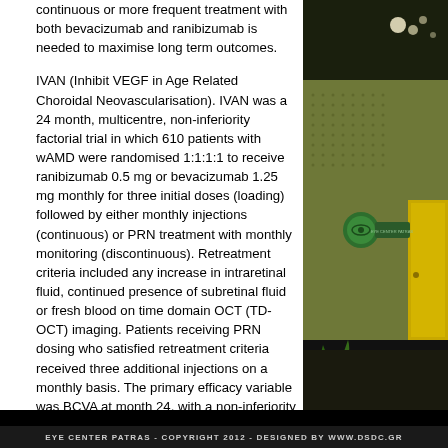continuous or more frequent treatment with both bevacizumab and ranibizumab is needed to maximise long term outcomes.
IVAN (Inhibit VEGF in Age Related Choroidal Neovascularisation). IVAN was a 24 month, multicentre, non-inferiority factorial trial in which 610 patients with wAMD were randomised 1:1:1:1 to receive ranibizumab 0.5 mg or bevacizumab 1.25 mg monthly for three initial doses (loading) followed by either monthly injections (continuous) or PRN treatment with monthly monitoring (discontinuous). Retreatment criteria included any increase in intraretinal fluid, continued presence of subretinal fluid or fresh blood on time domain OCT (TD-OCT) imaging. Patients receiving PRN dosing who satisfied retreatment criteria received three additional injections on a monthly basis. The primary efficacy variable was BCVA at month 24, with a non-inferiority limit of 3.5 letters. Prespecified 12 month interim results have been reported (Table 4). [14]
[Figure (photo): Interior photo of Eye Center Patras showing a hallway with a circular green logo sign reading 'EYE CENTER PATRAS' and a yellow door in the background, with green plant in the foreground.]
EYE CENTER PATRAS - COPYRIGHT 2012 - DESIGNED BY WWW.DSDC.GR